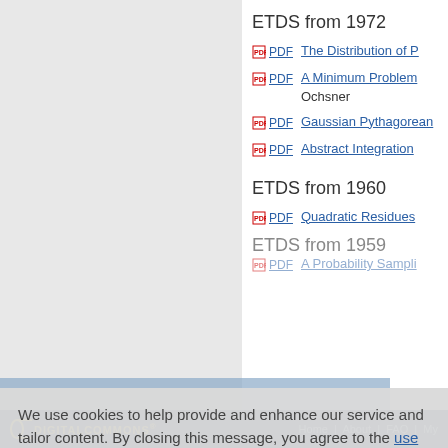ETDS from 1972
PDF  The Distribution of P
PDF  A Minimum Problem
Ochsner
PDF  Gaussian Pythagorean
PDF  Abstract Integration
ETDS from 1960
PDF  Quadratic Residues
ETDS from 1959
PDF  A Probability Sampli
We use cookies to help provide and enhance our service and tailor content. By closing this message, you agree to the use of cookies.
Close
DIGITALCOMMONS®  Home | About | FAQ | My